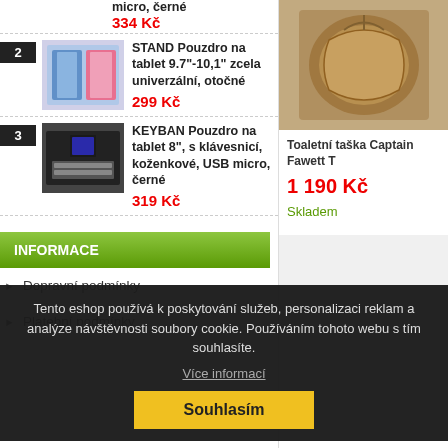micro, černé
334 Kč
2 STAND Pouzdro na tablet 9.7"-10,1" zcela univerzální, otočné 299 Kč
3 KEYBAN Pouzdro na tablet 8", s klávesnicí, koženkové, USB micro, černé 319 Kč
INFORMACE
Dopravní podmínky
Platební podmínky
[Figure (photo): Toaletní taška Captain Fawett product photo]
Toaletní taška Captain Fawett T
1 190 Kč
Skladem
Tento eshop používá k poskytování služeb, personalizaci reklam a analýze návštěvnosti soubory cookie. Používáním tohoto webu s tím souhlasíte.
Více informací
Souhlasím